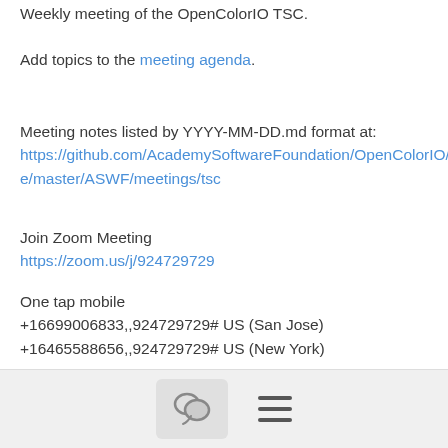Weekly meeting of the OpenColorIO TSC.
Add topics to the meeting agenda.
Meeting notes listed by YYYY-MM-DD.md format at:
https://github.com/AcademySoftwareFoundation/OpenColorIO/tree/master/ASWF/meetings/tsc
Join Zoom Meeting
https://zoom.us/j/924729729
One tap mobile
+16699006833,,924729729# US (San Jose)
+16465588656,,924729729# US (New York)
Dial by your location
      +1 669 900 6833 US (San Jose)
      +1 646 558 8656 US (New York)
      +1 ...